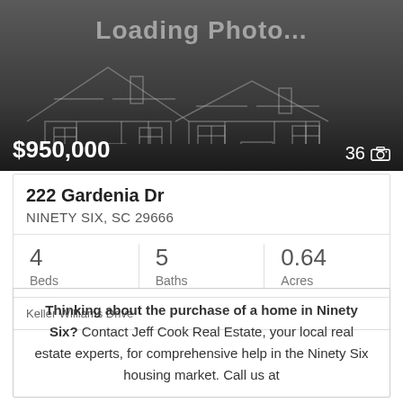[Figure (photo): Loading photo placeholder with house silhouette outline on dark grey background, showing 'Loading Photo...' text, price $950,000 and photo count 36]
222 Gardenia Dr
NINETY SIX, SC 29666
4 Beds  5 Baths  0.64 Acres
Keller Williams Drive
Thinking about the purchase of a home in Ninety Six? Contact Jeff Cook Real Estate, your local real estate experts, for comprehensive help in the Ninety Six housing market. Call us at